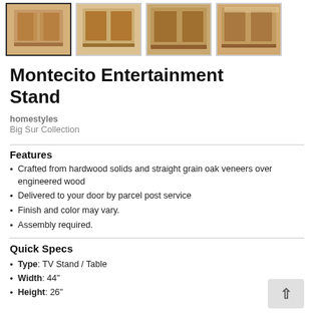[Figure (photo): Four thumbnail images of the Montecito Entertainment Stand from different angles, showing a wooden TV stand with oak finish. First thumbnail is selected/highlighted with border.]
Montecito Entertainment Stand
homestyles
Big Sur Collection
Features
Crafted from hardwood solids and straight grain oak veneers over engineered wood
Delivered to your door by parcel post service
Finish and color may vary.
Assembly required.
Quick Specs
Type: TV Stand / Table
Width: 44"
Height: 26"